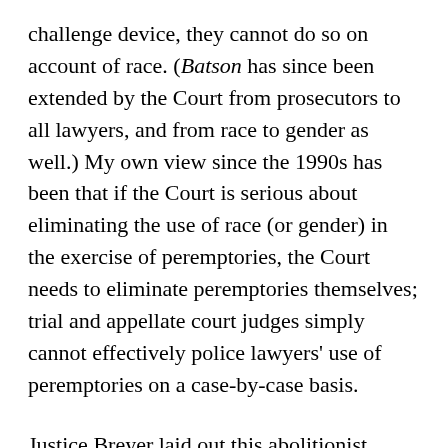challenge device, they cannot do so on account of race. (Batson has since been extended by the Court from prosecutors to all lawyers, and from race to gender as well.) My own view since the 1990s has been that if the Court is serious about eliminating the use of race (or gender) in the exercise of peremptories, the Court needs to eliminate peremptories themselves; trial and appellate court judges simply cannot effectively police lawyers' use of peremptories on a case-by-case basis.
Justice Breyer laid out this abolitionist stance in Miller-El. He made the case eloquently, pointing out that "[g]iven the inevitably clumsy fit between any objectively measurable standard and the subjective